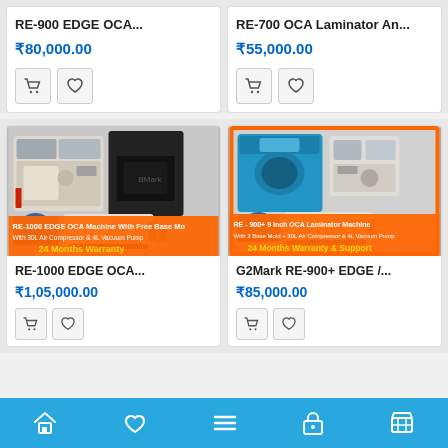RE-900 EDGE OCA…
₹80,000.00
RE-700 OCA Laminator An…
₹55,000.00
[Figure (photo): RE-1000 EDGE OCA Machine with 30L Air Compressor & 4L Vacuum Pump, 24 Months Warranty]
RE-1000 EDGE OCA…
₹1,05,000.00
[Figure (photo): RE-900+ 9 Inch OCA Laminator Machine with 2 Base Mold + 30L Air Compressor & 4L Vacuum Pump, 24 Months Warranty & Support]
G2Mark RE-900+ EDGE /…
₹85,000.00